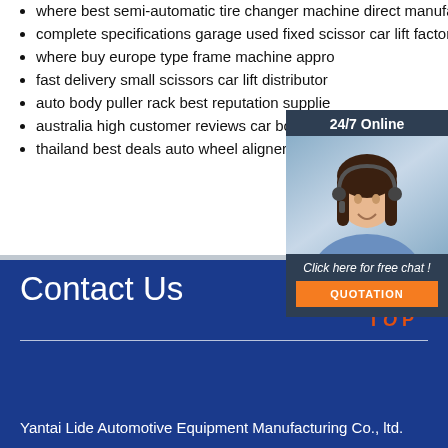where best semi-automatic tire changer machine direct manufacturers
complete specifications garage used fixed scissor car lift factory direct sales
where buy europe type frame machine appr...
fast delivery small scissors car lift distributor
auto body puller rack best reputation supplie
australia high customer reviews car body rep... equipment
thailand best deals auto wheel aligner works... equipment
[Figure (photo): Customer service representative with headset, with 24/7 Online banner, click here for free chat text, and QUOTATION button overlay]
Contact Us
Yantai Lide Automotive Equipment Manufacturing Co., ltd.